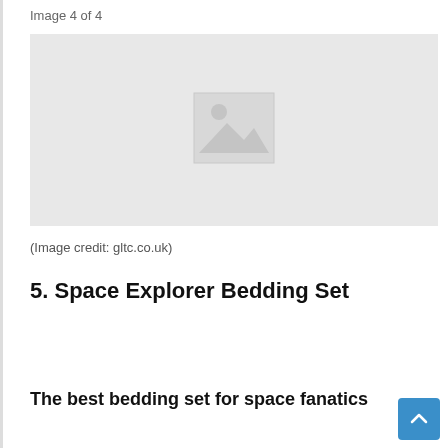Image 4 of 4
[Figure (photo): Placeholder image with grey background and image icon (mountain/sun placeholder graphic)]
(Image credit: gltc.co.uk)
5. Space Explorer Bedding Set
The best bedding set for space fanatics